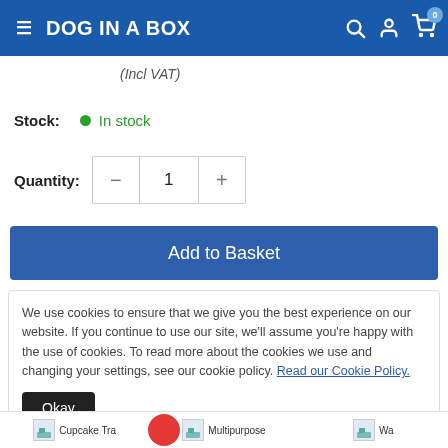DOG IN A BOX
(Incl VAT)
Stock: In stock
Quantity: 1
Add to Basket
We use cookies to ensure that we give you the best experience on our website. If you continue to use our site, we'll assume you're happy with the use of cookies. To read more about the cookies we use and changing your settings, see our cookie policy. Read our Cookie Policy.
Okay
Cupcake Tr...  Multipurpose  Wa...